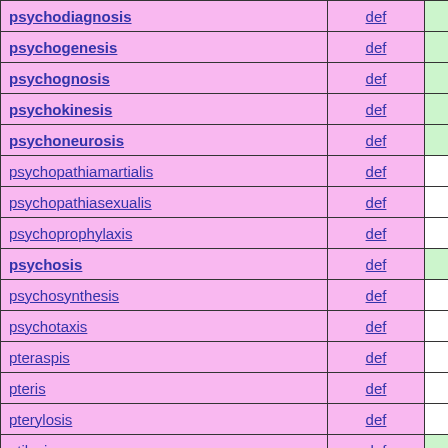| Term | Def |  |
| --- | --- | --- |
| psychodiagnosis | def |  |
| psychogenesis | def |  |
| psychognosis | def |  |
| psychokinesis | def |  |
| psychoneurosis | def |  |
| psychopathiamartialis | def |  |
| psychopathiasexualis | def |  |
| psychoprophylaxis | def |  |
| psychosis | def |  |
| psychosynthesis | def |  |
| psychotaxis | def |  |
| pteraspis | def |  |
| pteris | def |  |
| pterylosis | def |  |
| ptilosis | def |  |
| ptosis | def |  |
| ptyalectasis | def |  |
| ptyalolithiasis | def |  |
| ptyxis | def |  |